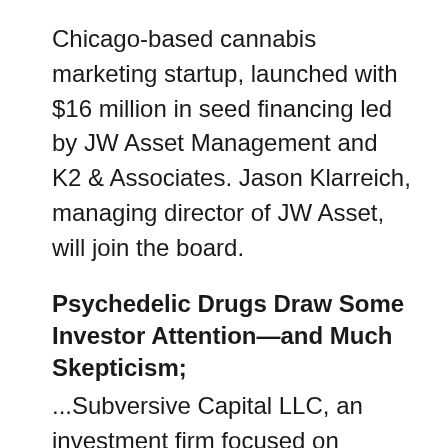Chicago-based cannabis marketing startup, launched with $16 million in seed financing led by JW Asset Management and K2 & Associates. Jason Klarreich, managing director of JW Asset, will join the board.
Psychedelic Drugs Draw Some Investor Attention—and Much Skepticism;
...Subversive Capital LLC, an investment firm focused on controversial industries including gambling as well as substances such as cannabis and psychedelics.
Thrive Capital Makes First Cannabis